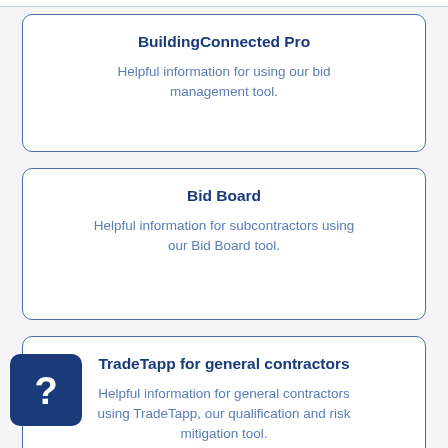BuildingConnected Pro
Helpful information for using our bid management tool.
Bid Board
Helpful information for subcontractors using our Bid Board tool.
TradeTapp for general contractors
Helpful information for general contractors using TradeTapp, our qualification and risk mitigation tool.